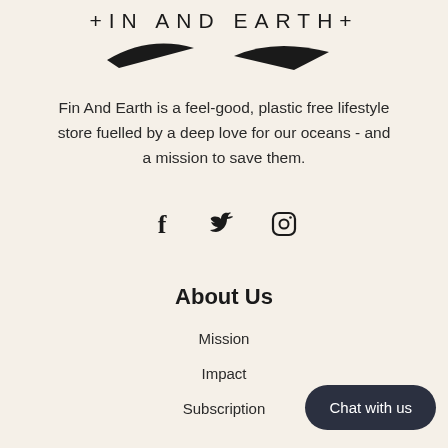[Figure (logo): Fin And Earth logo with hand-drawn text '+ IN AND EARTH+' and two shark fin / wave shapes below]
Fin And Earth is a feel-good, plastic free lifestyle store fuelled by a deep love for our oceans - and a mission to save them.
[Figure (illustration): Social media icons: Facebook (f), Twitter (bird), Instagram (camera)]
About Us
Mission
Impact
Subscription